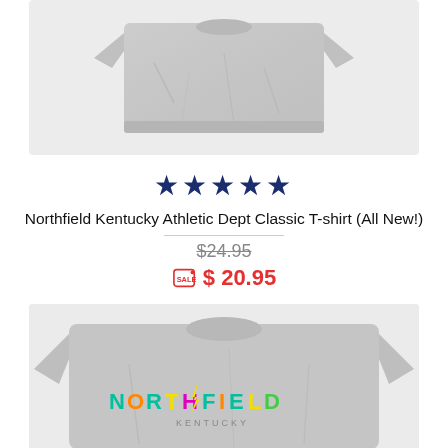[Figure (photo): Gray t-shirt folded, top view, on light background]
★★★★★
Northfield Kentucky Athletic Dept Classic T-shirt (All New!)
$24.95 (strikethrough original price)
$ 20.95 (sale price with sale tag icon)
[Figure (photo): Gray t-shirt laid flat showing colorful NORTHFIELD KENTUCKY graphic text on chest]